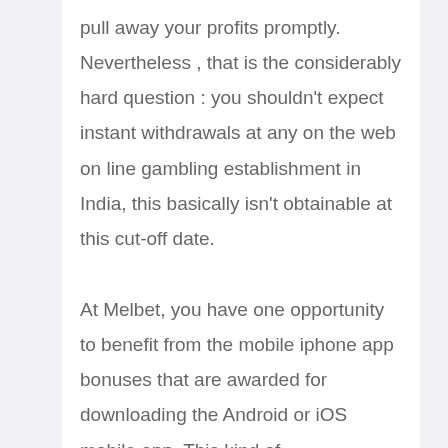pull away your profits promptly. Nevertheless , that is the considerably hard question : you shouldn't expect instant withdrawals at any on the web on line gambling establishment in India, this basically isn't obtainable at this cut-off date.
At Melbet, you have one opportunity to benefit from the mobile iphone app bonuses that are awarded for downloading the Android or iOS mobile app. This kind of